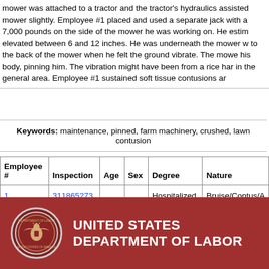mower was attached to a tractor and the tractor's hydraulics assisted mower slightly. Employee #1 placed and used a separate jack with a 7,000 pounds on the side of the mower he was working on. He estimated elevated between 6 and 12 inches. He was underneath the mower w to the back of the mower when he felt the ground vibrate. The mowe his body, pinning him. The vibration might have been from a rice har in the general area. Employee #1 sustained soft tissue contusions ar
Keywords: maintenance, pinned, farm machinery, crushed, lawn contusion
| Employee # | Inspection | Age | Sex | Degree | Nature |
| --- | --- | --- | --- | --- | --- |
| 1 | 311865273 |  |  | Hospitalized injury | Bruise/Contus/... |
[Figure (logo): United States Department of Labor seal and text logo on dark red background]